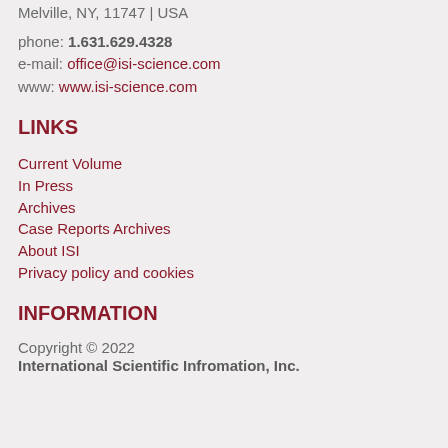Melville, NY, 11747 | USA
phone: 1.631.629.4328
e-mail: office@isi-science.com
www: www.isi-science.com
LINKS
Current Volume
In Press
Archives
Case Reports Archives
About ISI
Privacy policy and cookies
INFORMATION
Copyright © 2022
International Scientific Infromation, Inc.